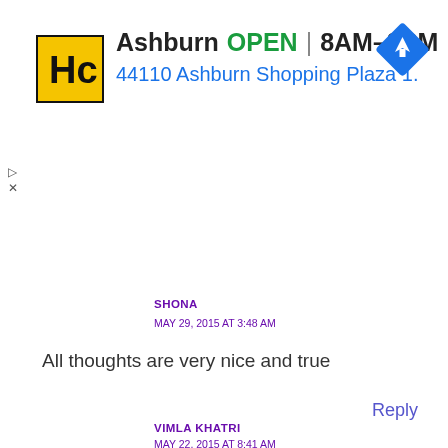[Figure (screenshot): Advertisement banner for Hairclub (HC) showing location: Ashburn, OPEN 8AM-8PM, 44110 Ashburn Shopping Plaza 1. with navigation icon]
SHONA
MAY 29, 2015 AT 3:48 AM
All thoughts are very nice and true
Reply
VIMLA KHATRI
MAY 22, 2015 AT 8:41 AM